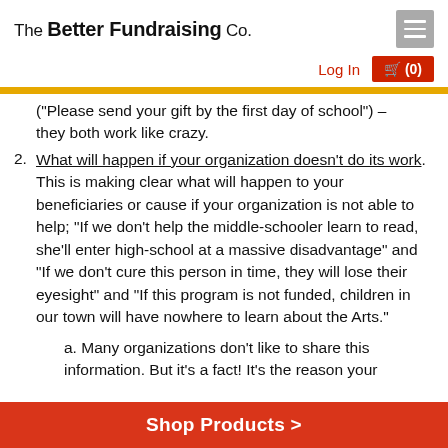The Better Fundraising Co.
Log In  🛒 (0)
("Please send your gift by the first day of school") – they both work like crazy.
What will happen if your organization doesn't do its work. This is making clear what will happen to your beneficiaries or cause if your organization is not able to help; "If we don't help the middle-schooler learn to read, she'll enter high-school at a massive disadvantage" and "If we don't cure this person in time, they will lose their eyesight" and "If this program is not funded, children in our town will have nowhere to learn about the Arts."
a. Many organizations don't like to share this information. But it's a fact! It's the reason your
Shop Products >